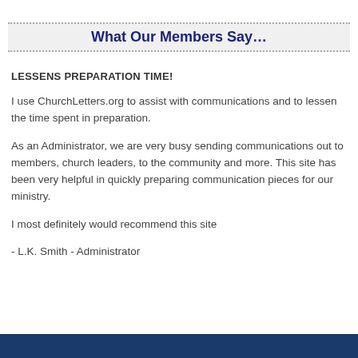What Our Members Say…
LESSENS PREPARATION TIME!
I use ChurchLetters.org to assist with communications and to lessen the time spent in preparation.
As an Administrator, we are very busy sending communications out to members, church leaders, to the community and more. This site has been very helpful in quickly preparing communication pieces for our ministry.
I most definitely would recommend this site
- L.K. Smith - Administrator